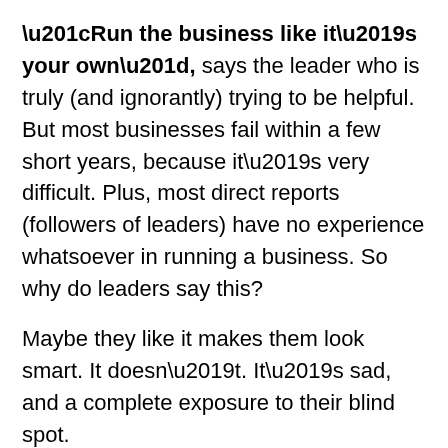“Run the business like it’s your own”, says the leader who is truly (and ignorantly) trying to be helpful. But most businesses fail within a few short years, because it’s very difficult. Plus, most direct reports (followers of leaders) have no experience whatsoever in running a business. So why do leaders say this?
Maybe they like it makes them look smart. It doesn’t. It’s sad, and a complete exposure to their blind spot.
Want to run a business like it’s your own?